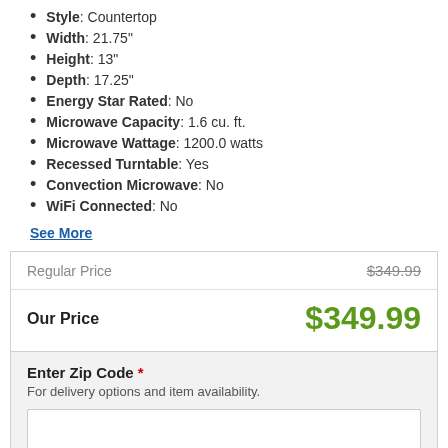Style: Countertop
Width: 21.75"
Height: 13"
Depth: 17.25"
Energy Star Rated: No
Microwave Capacity: 1.6 cu. ft.
Microwave Wattage: 1200.0 watts
Recessed Turntable: Yes
Convection Microwave: No
WiFi Connected: No
See More
|  |  |
| --- | --- |
| Regular Price | $349.99 |
| Our Price | $349.99 |
Enter Zip Code * For delivery options and item availability.